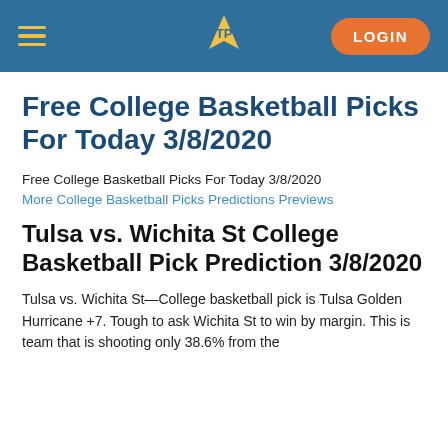TP LOGIN
Free College Basketball Picks For Today 3/8/2020
Free College Basketball Picks For Today 3/8/2020
More College Basketball Picks Predictions Previews
Tulsa vs. Wichita St College Basketball Pick Prediction 3/8/2020
Tulsa vs. Wichita St—College basketball pick is Tulsa Golden Hurricane +7. Tough to ask Wichita St to win by margin. This is team that is shooting only 38.6% from the